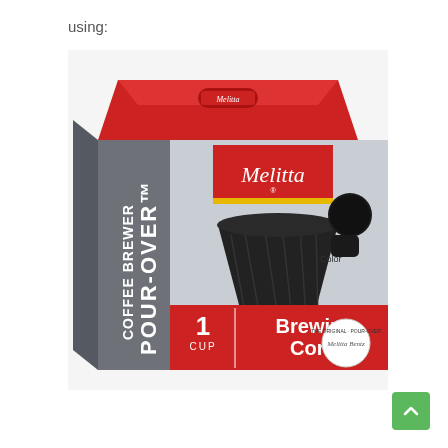using:
[Figure (photo): Melitta Pour-Over Coffee Brewer product box showing a 1 Cup Brewing Cone, black color, with the Melitta logo on a red and silver box.]